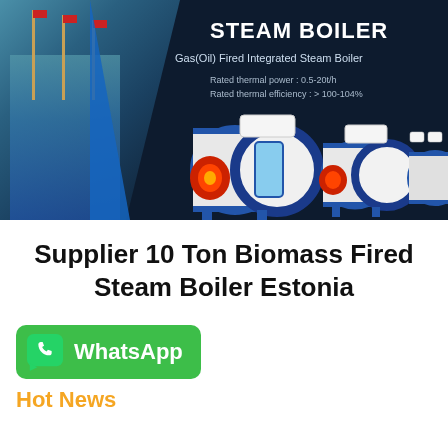[Figure (photo): Dark navy banner showing Gas(Oil) Fired Integrated Steam Boiler product advertisement. Left side shows a building with flagpoles and glass facade. Right side shows white industrial steam boilers with blue rings and red burner openings. Text overlay: STEAM BOILER, Gas(Oil) Fired Integrated Steam Boiler, Rated thermal power: 0.5-20t/h, Rated thermal efficiency: > 100-104%.]
Supplier 10 Ton Biomass Fired Steam Boiler Estonia
[Figure (logo): WhatsApp button: green rounded rectangle with WhatsApp phone icon on left and text 'WhatsApp' in white bold.]
Hot News